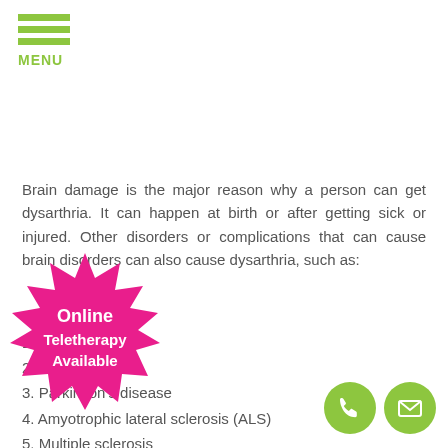MENU
Brain damage is the major reason why a person can get dysarthria. It can happen at birth or after getting sick or injured. Other disorders or complications that can cause brain disorders can also cause dysarthria, such as:
1. Stroke
2. Brain injury
3. Parkinson’s disease
4. Amyotrophic lateral sclerosis (ALS)
5. Multiple sclerosis
6. Cerebral palsy
7. Muscular dystrophy
8. Huntington’s disease
9. ...
[Figure (infographic): Pink starburst badge with text 'Online Teletherapy Available']
[Figure (infographic): Two green circle icons: phone and email]